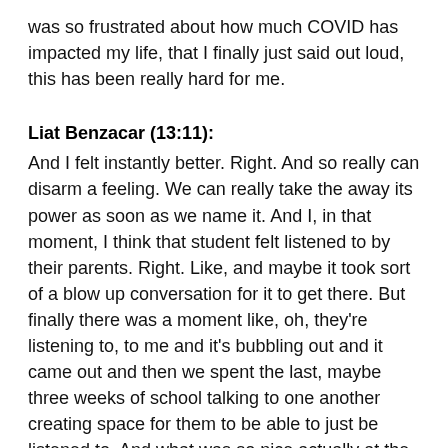was so frustrated about how much COVID has impacted my life, that I finally just said out loud, this has been really hard for me.
Liat Benzacar (13:11):
And I felt instantly better. Right. And so really can disarm a feeling. We can really take the away its power as soon as we name it. And I, in that moment, I think that student felt listened to by their parents. Right. Like, and maybe it took sort of a blow up conversation for it to get there. But finally there was a moment like, oh, they're listening to, to me and it's bubbling out and it came out and then we spent the last, maybe three weeks of school talking to one another creating space for them to be able to just be listened to. And what was so nice actually at the end of it, all saying, you know, like I'm, I'm willing for anyone to look a sin so that I can actually impact their own ability to be able to share how they're thinking, so that they share feelings and to...